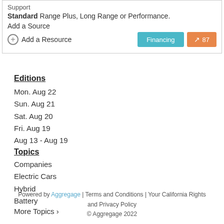Support
Standard Range Plus, Long Range or Performance.
Add a Source
Add a Resource
Editions
Mon. Aug 22
Sun. Aug 21
Sat. Aug 20
Fri. Aug 19
Aug 13 - Aug 19
Topics
Companies
Electric Cars
Hybrid
Battery
More Topics >
Powered by Aggregage | Terms and Conditions | Your California Rights and Privacy Policy © Aggregage 2022